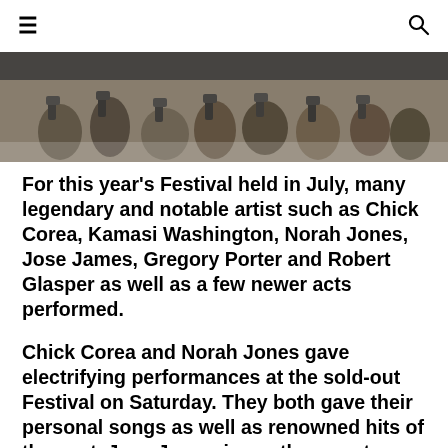☰ [search icon]
[Figure (photo): Crowd of people photographing at a festival, seen from behind, with cameras raised]
For this year's Festival held in July, many legendary and notable artist such as Chick Corea, Kamasi Washington, Norah Jones, Jose James, Gregory Porter and Robert Glasper as well as a few newer acts performed.
Chick Corea and Norah Jones gave electrifying performances at the sold-out Festival on Saturday. They both gave their personal songs as well as renowned hits of the past. Jose James is another great musician, with his mix of Jazz, cool R&B, and a little Hip Hop. He f…